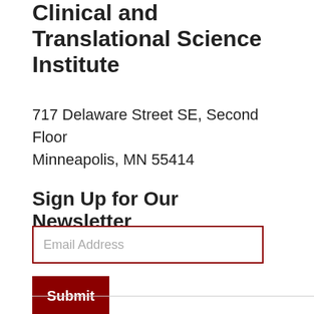Clinical and Translational Science Institute
717 Delaware Street SE, Second Floor
Minneapolis, MN 55414
Sign Up for Our Newsletter
Email Address
Submit